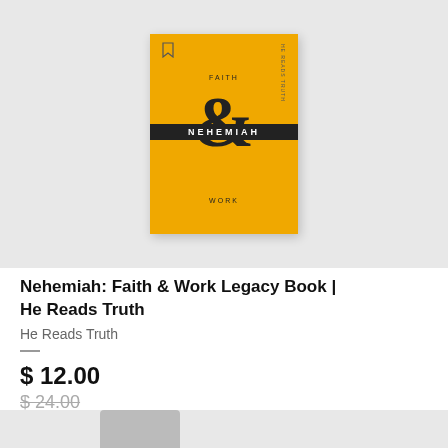[Figure (photo): Book cover for 'Nehemiah: Faith & Work Legacy Book' by He Reads Truth. Yellow/amber colored book cover with large black ampersand symbol, text 'FAITH' at top, 'NEHEMIAH' across the middle in white on black bar, and 'WORK' at the bottom. Displayed on a light gray background.]
Nehemiah: Faith & Work Legacy Book | He Reads Truth
He Reads Truth
$ 12.00
$ 24.00